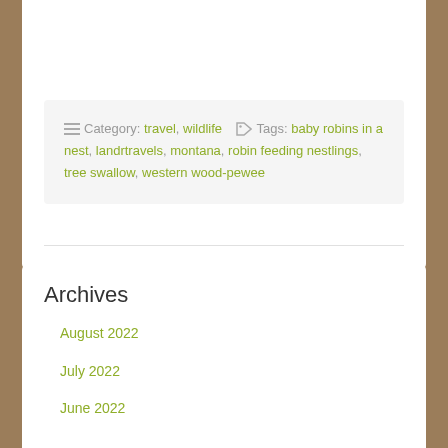≡ Category: travel, wildlife  🏷 Tags: baby robins in a nest, landrtravels, montana, robin feeding nestlings, tree swallow, western wood-pewee
Archives
August 2022
July 2022
June 2022